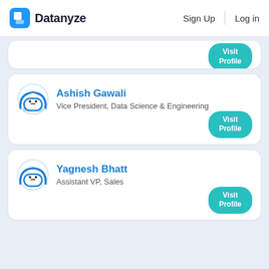Datanyze | Sign Up | Log in
[Figure (screenshot): Partial profile card with Visit Profile button (cropped top card)]
Ashish Gawali
Vice President, Data Science & Engineering
[Figure (screenshot): Visit Profile button for Ashish Gawali]
Yagnesh Bhatt
Assistant VP, Sales
[Figure (screenshot): Visit Profile button for Yagnesh Bhatt]